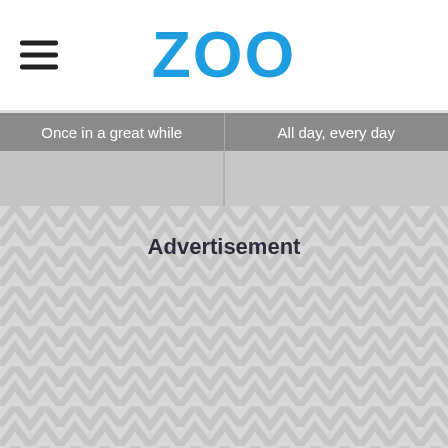ZOO
Once in a great while
All day, every day
Advertisement